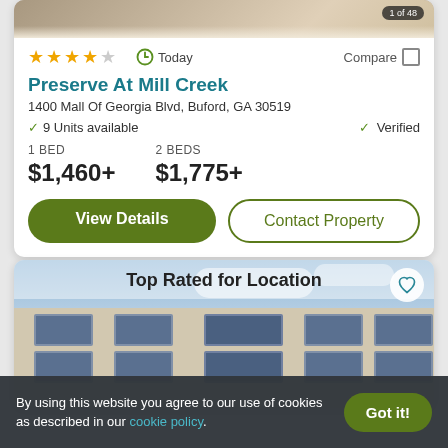[Figure (photo): Partial apartment interior photo at top of card, with badge showing '1 of 48']
★★★★☆  Today  Compare □
Preserve At Mill Creek
1400 Mall Of Georgia Blvd, Buford, GA 30519
✓ 9 Units available   ✓ Verified
1 BED
$1,460+

2 BEDS
$1,775+
View Details   Contact Property
[Figure (photo): Exterior photo of multi-story apartment building with 'Top Rated for Location' label overlay and heart icon]
By using this website you agree to our use of cookies as described in our cookie policy.